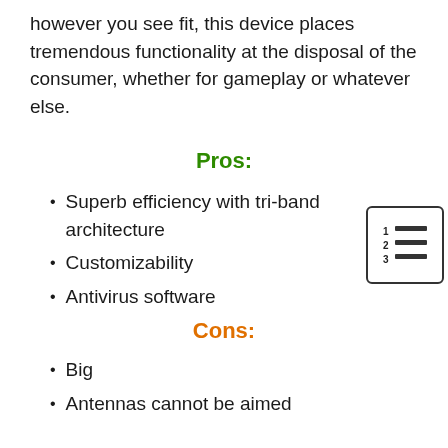however you see fit, this device places tremendous functionality at the disposal of the consumer, whether for gameplay or whatever else.
Pros:
Superb efficiency with tri-band architecture
Customizability
Antivirus software
[Figure (illustration): Numbered list icon showing lines 1, 2, 3]
Cons:
Big
Antennas cannot be aimed